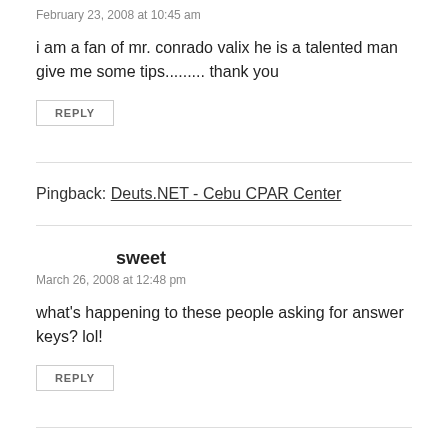February 23, 2008 at 10:45 am
i am a fan of mr. conrado valix he is a talented man give me some tips......... thank you
REPLY
Pingback: Deuts.NET - Cebu CPAR Center
sweet
March 26, 2008 at 12:48 pm
what's happening to these people asking for answer keys? lol!
REPLY